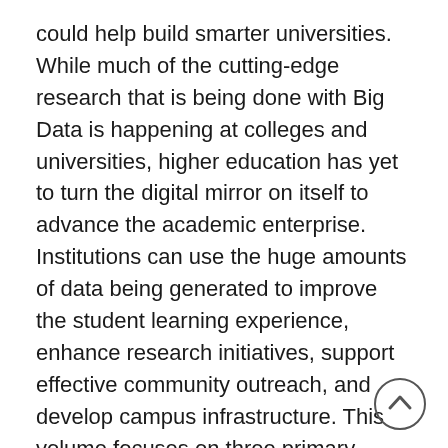could help build smarter universities. While much of the cutting-edge research that is being done with Big Data is happening at colleges and universities, higher education has yet to turn the digital mirror on itself to advance the academic enterprise. Institutions can use the huge amounts of data being generated to improve the student learning experience, enhance research initiatives, support effective community outreach, and develop campus infrastructure. This volume focuses on three primary themes related to creating a smarter university: refining the operations and management of higher education institutions, cultivating the education pipeline, and educating the next generation of data scientists. Through an